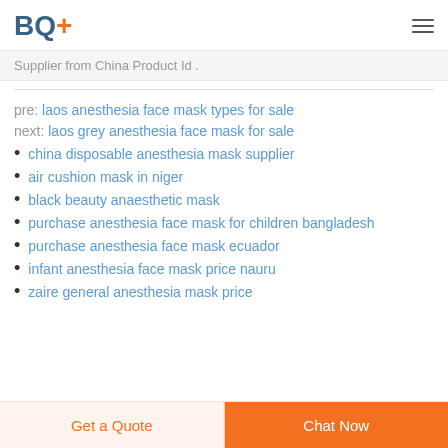BQ+
Supplier from China Product Id .
pre: laos anesthesia face mask types for sale
next: laos grey anesthesia face mask for sale
china disposable anesthesia mask supplier
air cushion mask in niger
black beauty anaesthetic mask
purchase anesthesia face mask for children bangladesh
purchase anesthesia face mask ecuador
infant anesthesia face mask price nauru
zaire general anesthesia mask price
Get a Quote | Chat Now